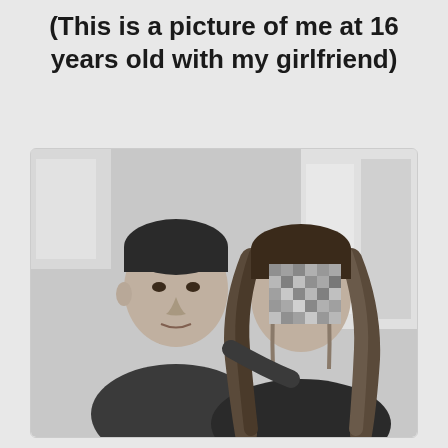(This is a picture of me at 16 years old with my girlfriend)
[Figure (photo): Black and white photo of two teenagers — a boy on the left in a dark t-shirt and a girl on the right with long wavy hair. The girl's face is pixelated/blurred for privacy. They are posing together indoors.]